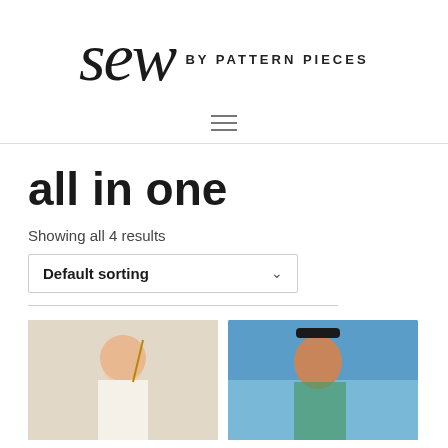[Figure (logo): Sew by Pattern Pieces logo with script 'sew' and uppercase sans-serif 'BY PATTERN PIECES']
[Figure (other): Hamburger menu icon with three horizontal lines]
all in one
Showing all 4 results
Default sorting
[Figure (photo): Photo of a young girl with flower in hair holding a stick/wand indoors]
[Figure (photo): Photo of a young girl with sunglasses on head outdoors with blue sky background]